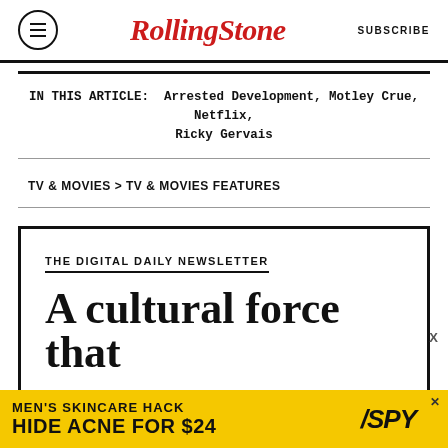RollingStone  SUBSCRIBE
IN THIS ARTICLE:  Arrested Development, Motley Crue, Netflix, Ricky Gervais
TV & MOVIES > TV & MOVIES FEATURES
THE DIGITAL DAILY NEWSLETTER
A cultural force that
[Figure (infographic): Advertisement banner: MEN'S SKINCARE HACK HIDE ACNE FOR $24 SPY]